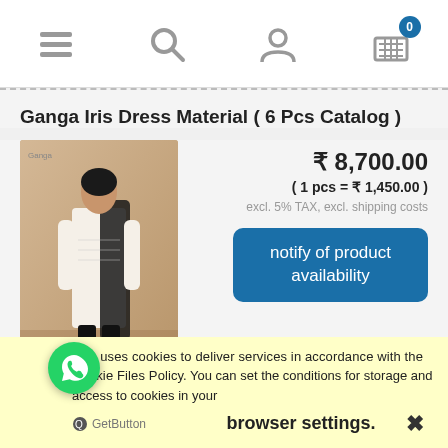Navigation bar with menu, search, user, and cart (0) icons
Ganga Iris Dress Material ( 6 Pcs Catalog )
[Figure (photo): Photo of a woman wearing a cream-colored Indian dress (salwar suit) with dark dupatta]
₹ 8,700.00
( 1 pcs = ₹ 1,450.00 )
excl. 5% TAX, excl. shipping costs
notify of product availability
This uses cookies to deliver services in accordance with the Cookie Files Policy. You can set the conditions for storage and access to cookies in your browser settings.
GetButton